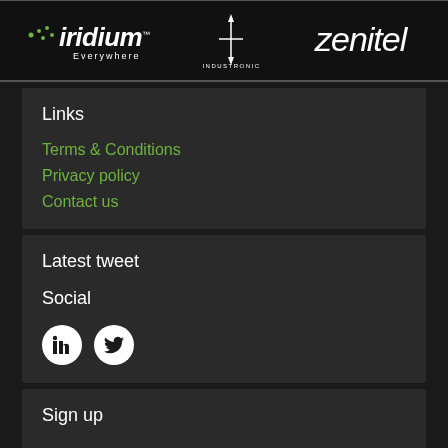[Figure (logo): Header bar with three logos: iridium Everywhere, INDUSTRONIC, and zenitel on a black background]
Links
Terms & Conditions
Privacy policy
Contact us
Latest tweet
Social
[Figure (illustration): LinkedIn and Twitter circular social media icons in white on dark background]
Sign up
Enter email address